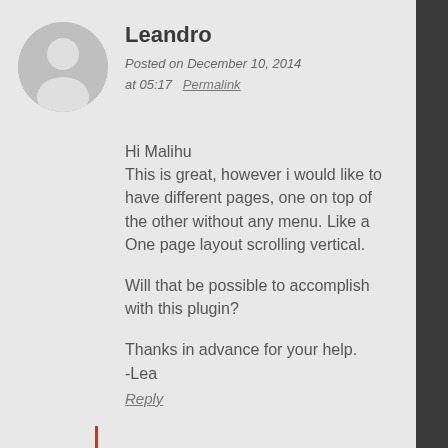[Figure (illustration): Default user avatar circle with silhouette person icon, grey background]
Leandro
Posted on December 10, 2014 at 05:17   Permalink
Hi Malihu
This is great, however i would like to have different pages, one on top of the other without any menu. Like a One page layout scrolling vertical.

Will that be possible to accomplish with this plugin?

Thanks in advance for your help.
-Lea
Reply